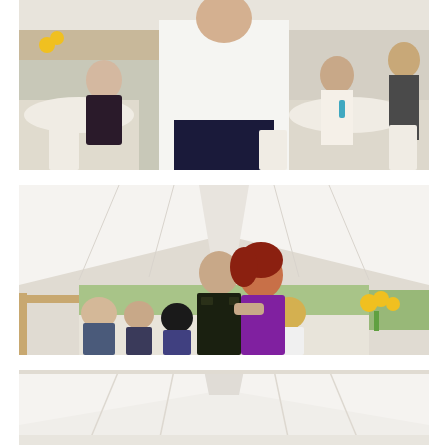[Figure (photo): Wedding reception scene indoors under a white pavilion roof. A man in a white shirt stands in the foreground possibly giving a speech, while guests sit at tables decorated with sunflowers in the background.]
[Figure (photo): Wedding reception dance scene under a large white tent. A man in a military dress uniform dances with a woman in a purple dress, while guests sit at tables with sunflower centerpieces watching in the background.]
[Figure (photo): Partial view of the interior of a large white tent, showing the ceiling structure and tent fabric, cropped at the bottom of the page.]